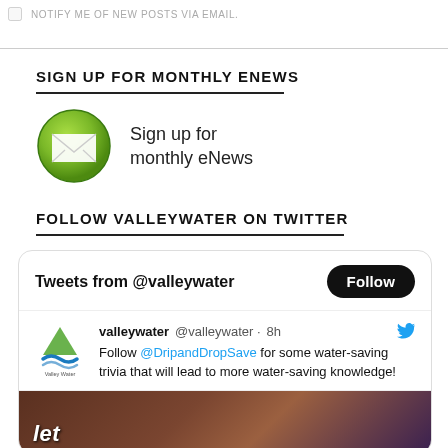NOTIFY ME OF NEW POSTS VIA EMAIL.
SIGN UP FOR MONTHLY ENEWS
[Figure (illustration): Green circular button with white envelope/mail icon]
Sign up for monthly eNews
FOLLOW VALLEYWATER ON TWITTER
[Figure (screenshot): Twitter widget showing tweets from @valleywater with a Follow button. Tweet by valleywater @valleywater · 8h: Follow @DripandDropSave for some water-saving trivia that will lead to more water-saving knowledge! Includes partial image with text 'let']